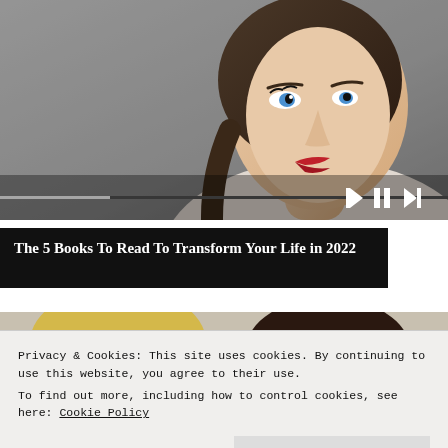[Figure (photo): A young woman with dark hair in a ponytail and red lipstick, looking to the side against a grey background. A video player control bar is visible at the bottom of the image with skip-back, pause, and skip-forward buttons.]
The 5 Books To Read To Transform Your Life in 2022
[Figure (photo): Partially visible photo of two people, one with blonde hair and one with dark skin wearing glasses, with large blurred text in the background.]
Privacy & Cookies: This site uses cookies. By continuing to use this website, you agree to their use.
To find out more, including how to control cookies, see here: Cookie Policy
Close and accept